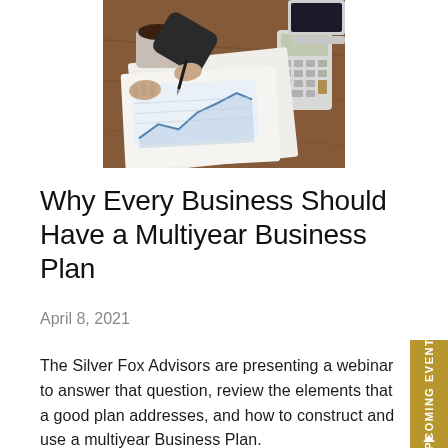[Figure (photo): Overhead/top-down view of a person's hands pointing at financial charts and graphs on paper, with a coffee mug, calculator, and laptop visible on a wooden desk]
Why Every Business Should Have a Multiyear Business Plan
April 8, 2021
The Silver Fox Advisors are presenting a webinar to answer that question, review the elements that a good plan addresses, and how to construct and use a multiyear Business Plan.